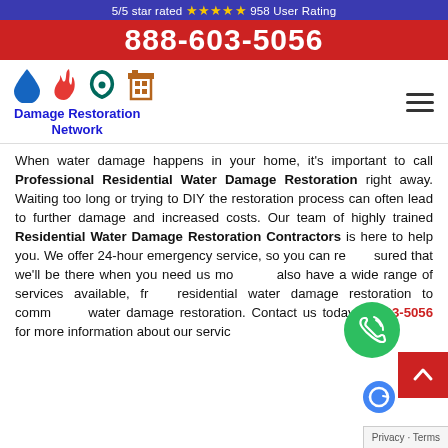5/5 star rated ⭐⭐⭐⭐⭐ 958 User Rating
888-603-5056
[Figure (logo): Damage Restoration Network logo with four icons (water drop, fire, hurricane, building) and text 'Damage Restoration Network' in blue]
When water damage happens in your home, it's important to call Professional Residential Water Damage Restoration right away. Waiting too long or trying to DIY the restoration process can often lead to further damage and increased costs. Our team of highly trained Residential Water Damage Restoration Contractors is here to help you. We offer 24-hour emergency service, so you can rest assured that we'll be there when you need us most. We also have a wide range of services available, from residential water damage restoration to commercial water damage restoration. Contact us today at 603-5056 for more information about our services.